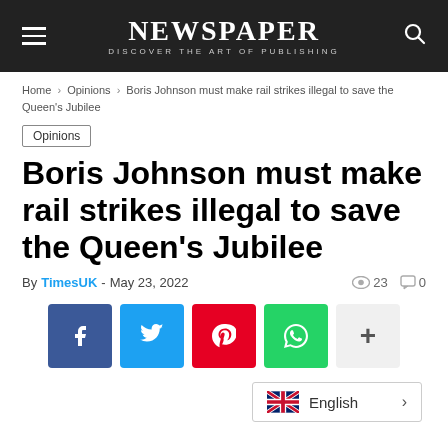NEWSPAPER — DISCOVER THE ART OF PUBLISHING
Home > Opinions > Boris Johnson must make rail strikes illegal to save the Queen's Jubilee
Opinions
Boris Johnson must make rail strikes illegal to save the Queen's Jubilee
By TimesUK - May 23, 2022   👁 23  💬 0
[Figure (infographic): Social sharing buttons: Facebook (blue), Twitter (light blue), Pinterest (red), WhatsApp (green), More (light gray with plus sign)]
English >